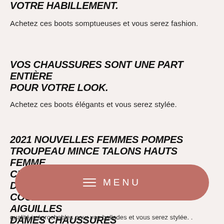VOTRE HABILLEMENT.
Achetez ces boots somptueuses et vous serez fashion.
VOS CHAUSSURES SONT UNE PART ENTIÈRE POUR VOTRE LOOK.
Achetez ces boots élégants et vous serez stylée.
2021 NOUVELLES FEMMES POMPES TROUPEAU MINCE TALONS HAUTS FEMME CHAUSSURES DE FÊTE CHAÎNE PERLE DECRO COUPE BASSE TALONS À TALONS AIGUILLES DAMES CHAUSSURES
qualité irréprochables pour vos ballades et vous serez stylée. .